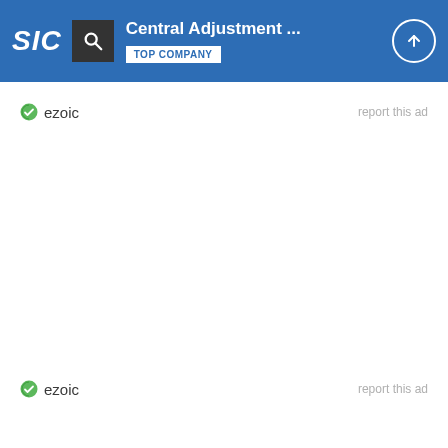Central Adjustment ... TOP COMPANY
[Figure (logo): Ezoic ad network logo with green circle checkmark icon and 'ezoic' text, with 'report this ad' link on the right]
[Figure (logo): Ezoic ad network logo with green circle checkmark icon and 'ezoic' text, with 'report this ad' link on the right]